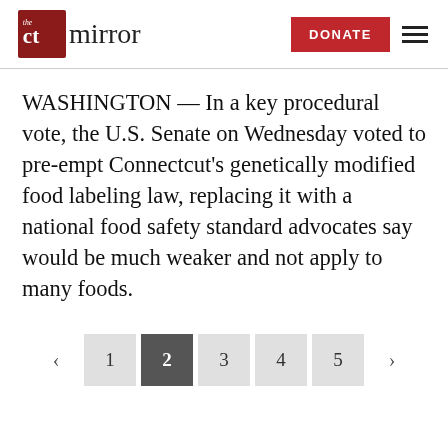the ct mirror | DONATE
WASHINGTON — In a key procedural vote, the U.S. Senate on Wednesday voted to pre-empt Connectcut's genetically modified food labeling law, replacing it with a national food safety standard advocates say would be much weaker and not apply to many foods.
Pagination: < 1 2 3 4 5 >